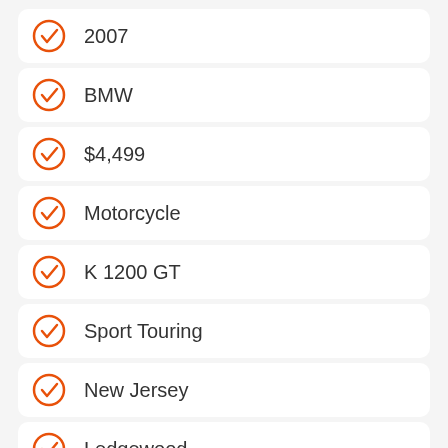2007
BMW
$4,499
Motorcycle
K 1200 GT
Sport Touring
New Jersey
Ledgewood